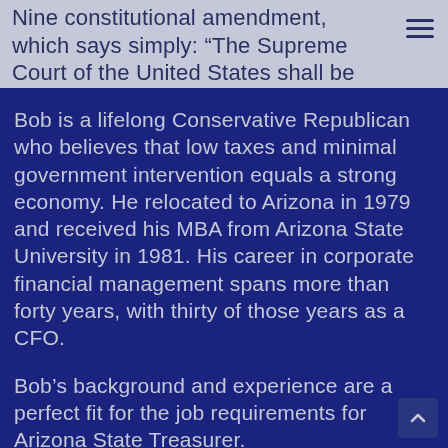Nine constitutional amendment, which says simply: “The Supreme Court of the United States shall be composed of nine Justices.”
Bob is a lifelong Conservative Republican who believes that low taxes and minimal government intervention equals a strong economy. He relocated to Arizona in 1979 and received his MBA from Arizona State University in 1981. His career in corporate financial management spans more than forty years, with thirty of those years as a CFO.
Bob’s background and experience are a perfect fit for the job requirements for Arizona State Treasurer.